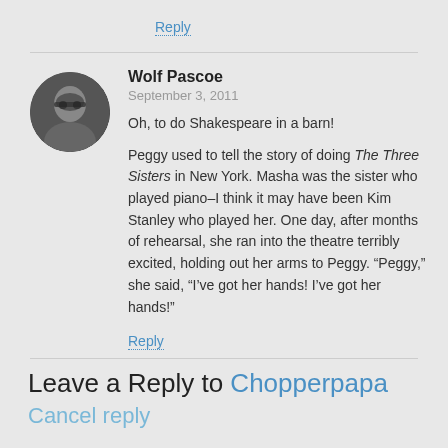Reply
Wolf Pascoe
September 3, 2011
Oh, to do Shakespeare in a barn!

Peggy used to tell the story of doing The Three Sisters in New York. Masha was the sister who played piano–I think it may have been Kim Stanley who played her. One day, after months of rehearsal, she ran into the theatre terribly excited, holding out her arms to Peggy. “Peggy,” she said, “I’ve got her hands! I’ve got her hands!”
Reply
Leave a Reply to Chopperpapa Cancel reply